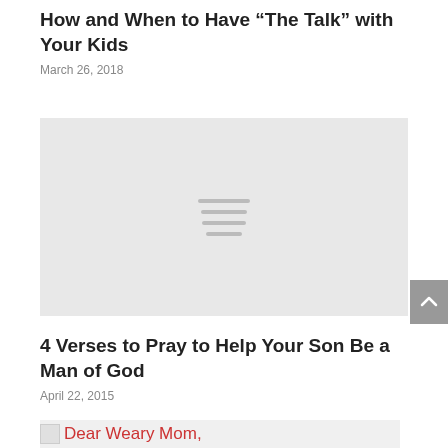How and When to Have “The Talk” with Your Kids
March 26, 2018
[Figure (photo): Placeholder image with hamburger menu icon on grey background]
4 Verses to Pray to Help Your Son Be a Man of God
April 22, 2015
Dear Weary Mom,